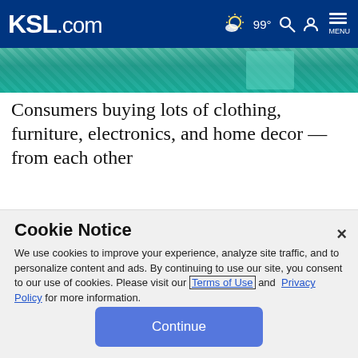KSL.com — 99° weather, search, account, menu
[Figure (photo): Cropped image of a person wearing teal/green sparkly clothing, image strip at top of page]
Consumers buying lots of clothing, furniture, electronics, and home decor — from each other
[Figure (infographic): Purple/violet advertisement banner with white bold text reading: Content made to engage, added to]
Cookie Notice
We use cookies to improve your experience, analyze site traffic, and to personalize content and ads. By continuing to use our site, you consent to our use of cookies. Please visit our Terms of Use and Privacy Policy for more information.
Continue